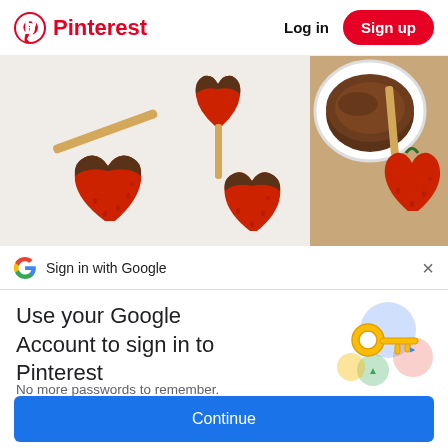Pinterest — Log in | Sign up
[Figure (photo): Overhead view of heart-shaped chocolate-dipped strawberries on sticks, with a bowl of melted chocolate, on a white marble surface and wooden board.]
Sign in with Google
Use your Google Account to sign in to Pinterest
No more passwords to remember. Signing in is fast, simple and secure.
[Figure (illustration): Google key illustration with colorful circles]
Continue